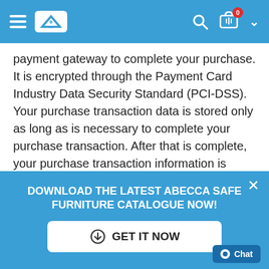Navigation bar with hamburger menu, logo, search icon, cart (0 items), and dropdown chevron
payment gateway to complete your purchase. It is encrypted through the Payment Card Industry Data Security Standard (PCI-DSS). Your purchase transaction data is stored only as long as is necessary to complete your purchase transaction. After that is complete, your purchase transaction information is deleted.
[Figure (screenshot): Promotional popup banner with blue background. Title: 'DOWNLOAD THE LATEST ABECCA SAFE FURNITURE CATALOGUE NOW!' with a white 'GET IT NOW' button featuring a cloud download icon. Close (×) button in top right. Chat button bottom right.]